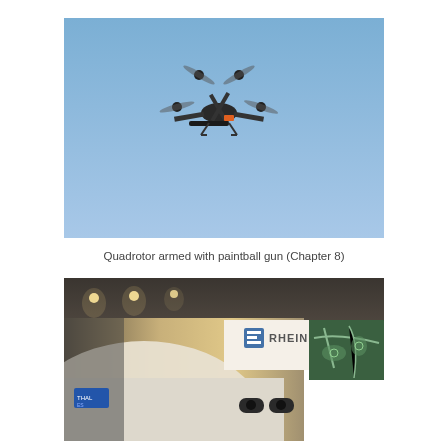[Figure (photo): A quadrotor drone armed with a paintball gun, flying against a clear blue sky. The drone is dark colored with four propellers and a gun-like attachment underneath.]
Quadrotor armed with paintball gun (Chapter 8)
[Figure (photo): A Rheinmetall defense exhibit showing military equipment including a weapon system with barrel, a display screen showing a map/satellite view, and the Rheinmetall logo on the wall.]